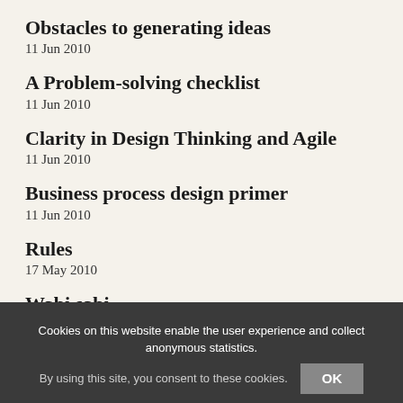Obstacles to generating ideas
11 Jun 2010
A Problem-solving checklist
11 Jun 2010
Clarity in Design Thinking and Agile
11 Jun 2010
Business process design primer
11 Jun 2010
Rules
17 May 2010
Wabi sabi
5 May 2010
Knowing enough to break the rules
14 Apr 2010
Invisible excellence – Tokyo pavement
Cookies on this website enable the user experience and collect anonymous statistics.
By using this site, you consent to these cookies.